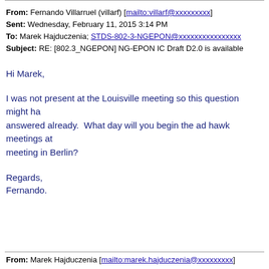From: Fernando Villarruel (villarf) [mailto:villarf@xxxxxxxxx]
Sent: Wednesday, February 11, 2015 3:14 PM
To: Marek Hajduczenia; STDS-802-3-NGEPON@xxxxxxxxxxxxxxxx
Subject: RE: [802.3_NGEPON] NG-EPON IC Draft D2.0 is available
Hi Marek,
I was not present at the Louisville meeting so this question might have been answered already. What day will you begin the ad hawk meetings at the meeting in Berlin?
Regards,

Fernando.
From: Marek Hajduczenia [mailto:marek.hajduczenia@xxxxxxxxx]